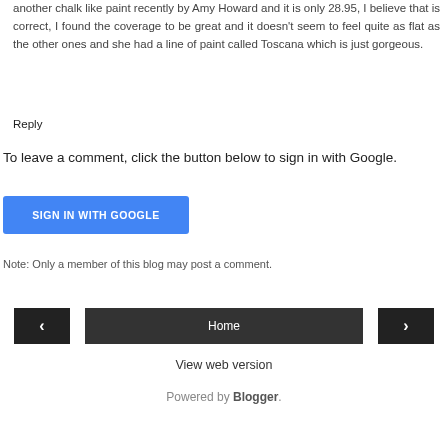another chalk like paint recently by Amy Howard and it is only 28.95, I believe that is correct, I found the coverage to be great and it doesn't seem to feel quite as flat as the other ones and she had a line of paint called Toscana which is just gorgeous.
Reply
To leave a comment, click the button below to sign in with Google.
[Figure (other): Blue 'SIGN IN WITH GOOGLE' button]
Note: Only a member of this blog may post a comment.
[Figure (other): Navigation bar with left arrow, Home button, and right arrow]
View web version
Powered by Blogger.